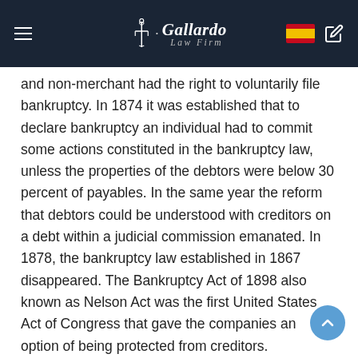Gallardo Law Firm
and non-merchant had the right to voluntarily file bankruptcy. In 1874 it was established that to declare bankruptcy an individual had to commit some actions constituted in the bankruptcy law, unless the properties of the debtors were below 30 percent of payables. In the same year the reform that debtors could be understood with creditors on a debt within a judicial commission emanated. In 1878, the bankruptcy law established in 1867 disappeared. The Bankruptcy Act of 1898 also known as Nelson Act was the first United States Act of Congress that gave the companies an option of being protected from creditors.
The Bankruptcy Reform Act of 1978, referred to as the